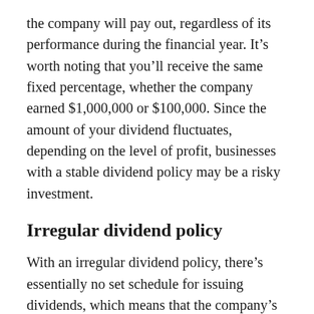the company will pay out, regardless of its performance during the financial year. It's worth noting that you'll receive the same fixed percentage, whether the company earned $1,000,000 or $100,000. Since the amount of your dividend fluctuates, depending on the level of profit, businesses with a stable dividend policy may be a risky investment.
Irregular dividend policy
With an irregular dividend policy, there's essentially no set schedule for issuing dividends, which means that the company's board of directors will decide what to do with the firm's profits. If your business experiences an abnormally profitable quarter, for